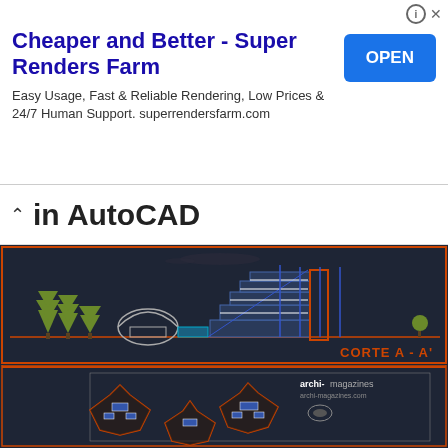[Figure (screenshot): Advertisement banner for Super Renders Farm with title 'Cheaper and Better - Super Renders Farm', subtitle 'Easy Usage, Fast & Reliable Rendering, Low Prices & 24/7 Human Support. superrendersfarm.com', and blue OPEN button]
in AutoCAD
[Figure (engineering-diagram): AutoCAD architectural section drawing (CORTE A - A') showing a multi-level building cross-section with trees, dome structure, and stepped levels, on dark background. Below it: floor plan views of building units with archi-magazines.com logo.]